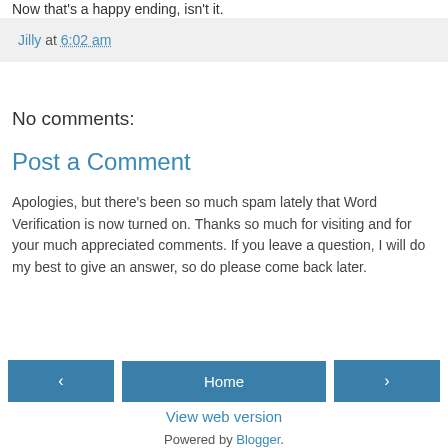Now that's a happy ending, isn't it.
Jilly at 6:02 am
No comments:
Post a Comment
Apologies, but there's been so much spam lately that Word Verification is now turned on. Thanks so much for visiting and for your much appreciated comments. If you leave a question, I will do my best to give an answer, so do please come back later.
‹  Home  ›
View web version
Powered by Blogger.